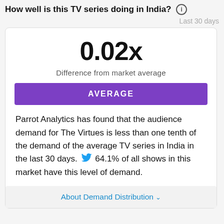How well is this TV series doing in India?
Last 30 days
0.02x
Difference from market average
AVERAGE
Parrot Analytics has found that the audience demand for The Virtues is less than one tenth of the demand of the average TV series in India in the last 30 days. 64.1% of all shows in this market have this level of demand.
About Demand Distribution ∨